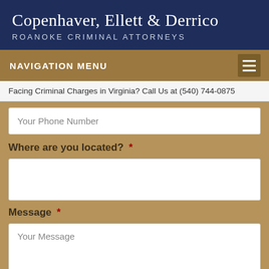Copenhaver, Ellett & Derrico
ROANOKE CRIMINAL ATTORNEYS
NAVIGATION MENU
Facing Criminal Charges in Virginia? Call Us at (540) 744-0875
Your Phone Number
Where are you located? *
Message *
Your Message